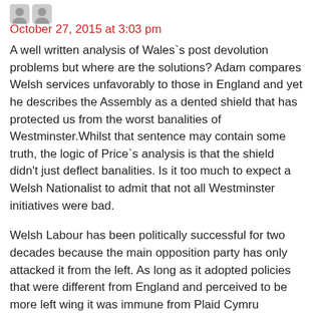October 27, 2015 at 3:03 pm
A well written analysis of Wales`s post devolution problems but where are the solutions? Adam compares Welsh services unfavorably to those in England and yet he describes the Assembly as a dented shield that has protected us from the worst banalities of Westminster.Whilst that sentence may contain some truth, the logic of Price`s analysis is that the shield didn't just deflect banalities. Is it too much to expect a Welsh Nationalist to admit that not all Westminster initiatives were bad.
Welsh Labour has been politically successful for two decades because the main opposition party has only attacked it from the left. As long as it adopted policies that were different from England and perceived to be more left wing it was immune from Plaid Cymru challenge. I think Adam is generally correct pointing out that these policies have not been as not been as